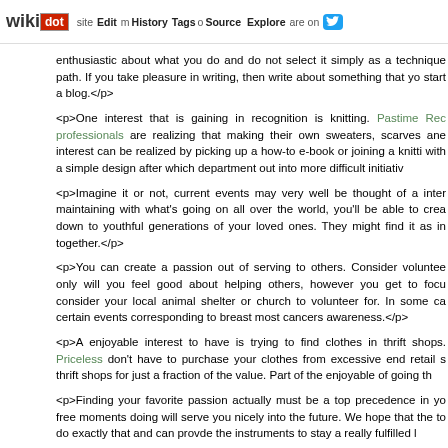wikidot | site Edit History Tags Source Explore Share on [twitter]
enthusiastic about what you do and do not select it simply as a technique path. If you take pleasure in writing, then write about something that yo start a blog.</p>
<p>One interest that is gaining in recognition is knitting. Pastime Rec professionals are realizing that making their own sweaters, scarves ane interest can be realized by picking up a how-to e-book or joining a knitti with a simple design after which department out into more difficult initiativ
<p>Imagine it or not, current events may very well be thought of a inter maintaining with what's going on all over the world, you'll be able to crea down to youthful generations of your loved ones. They might find it as in together.</p>
<p>You can create a passion out of serving to others. Consider voluntee only will you feel good about helping others, however you get to focu consider your local animal shelter or church to volunteer for. In some ca certain events corresponding to breast most cancers awareness.</p>
<p>A enjoyable interest to have is trying to find clothes in thrift shops. Priceless don't have to purchase your clothes from excessive end retail s thrift shops for just a fraction of the value. Part of the enjoyable of going th
<p>Finding your favorite passion actually must be a top precedence in yo free moments doing will serve you nicely into the future. We hope that the to do exactly that and can provde the instruments to stay a really fulfilled l
Reaching A Broader Audience With Social Media